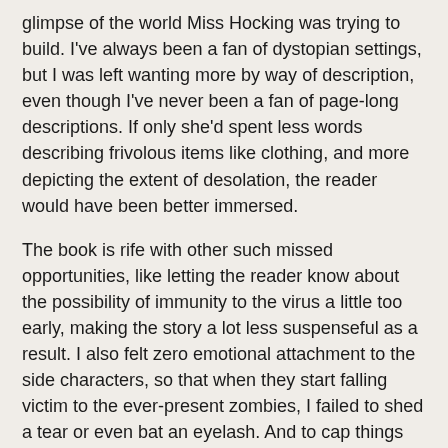glimpse of the world Miss Hocking was trying to build. I've always been a fan of dystopian settings, but I was left wanting more by way of description, even though I've never been a fan of page-long descriptions. If only she'd spent less words describing frivolous items like clothing, and more depicting the extent of desolation, the reader would have been better immersed.
The book is rife with other such missed opportunities, like letting the reader know about the possibility of immunity to the virus a little too early, making the story a lot less suspenseful as a result. I also felt zero emotional attachment to the side characters, so that when they start falling victim to the ever-present zombies, I failed to shed a tear or even bat an eyelash. And to cap things off, the book has the most disappointing ending since Breaking Dawn. I know its just the first book in the series, but at least she could have given readers a nice, little cliffhanger. As it is, there's nothing compelling me to read Hollowmen, the next book in the series.
Wow. This review has sure turned out a lot more negative